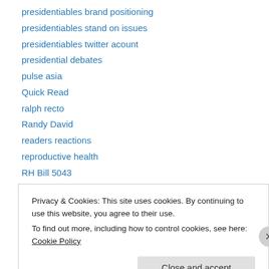presidentiables brand positioning
presidentiables stand on issues
presidentiables twitter acount
presidential debates
pulse asia
Quick Read
ralph recto
Randy David
readers reactions
reproductive health
RH Bill 5043
RH Law
richard gordon
Privacy & Cookies: This site uses cookies. By continuing to use this website, you agree to their use.
To find out more, including how to control cookies, see here: Cookie Policy